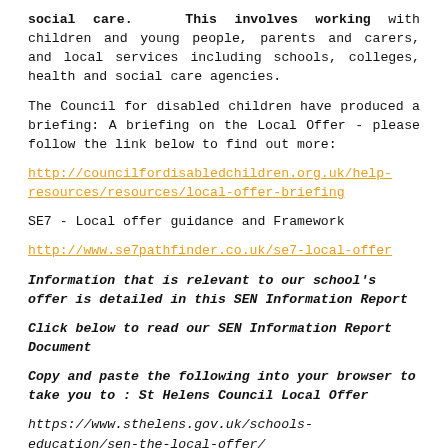social care.  This involves working with children and young people, parents and carers, and local services including schools, colleges, health and social care agencies.
The Council for disabled children have produced a briefing: A briefing on the Local Offer - please follow the link below to find out more:
http://councilfordisabledchildren.org.uk/help-resources/resources/local-offer-briefing
SE7 - Local offer guidance and Framework
http://www.se7pathfinder.co.uk/se7-local-offer
Information that is relevant to our school's offer is detailed in this SEN Information Report
Click below to read our SEN Information Report Document
Copy and paste the following into your browser to take you to : St Helens Council Local Offer
https://www.sthelens.gov.uk/schools-education/sen-the-local-offer/
Click below to read our SEN Statement of Intent, our SEN